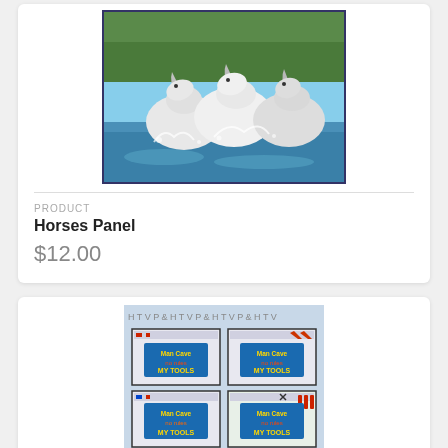[Figure (photo): Three white horses running through water with trees in background]
PRODUCT
Horses Panel
$12.00
[Figure (photo): Tools panel fabric showing four quadrants with tools and text 'Man Cave no rules MY TOOLS / Man Cave no rules MY TOOLS']